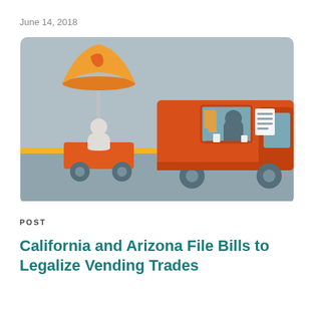June 14, 2018
[Figure (illustration): Colorful flat illustration showing a street vendor with an orange umbrella (California state shape on top) on a cart, next to an orange food truck with an Arizona state shape on the side and a vendor inside serving customers. The background is light grey-blue, with an orange/yellow ground stripe.]
POST
California and Arizona File Bills to Legalize Vending Trades